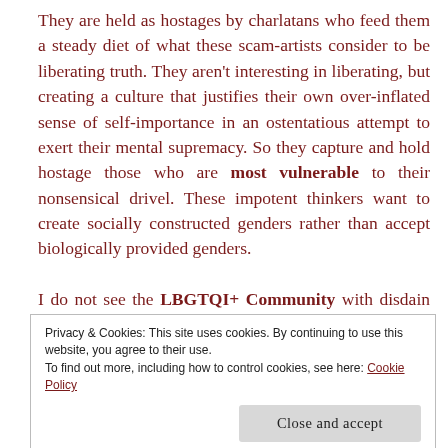They are held as hostages by charlatans who feed them a steady diet of what these scam-artists consider to be liberating truth. They aren't interesting in liberating, but creating a culture that justifies their own over-inflated sense of self-importance in an ostentatious attempt to exert their mental supremacy. So they capture and hold hostage those who are most vulnerable to their nonsensical drivel. These impotent thinkers want to create socially constructed genders rather than accept biologically provided genders.

I do not see the LBGTQI+ Community with disdain or hated. I see them for who they are, hostages to the
Privacy & Cookies: This site uses cookies. By continuing to use this website, you agree to their use.
To find out more, including how to control cookies, see here: Cookie Policy
Close and accept
definitions of hostage is someone who is made a